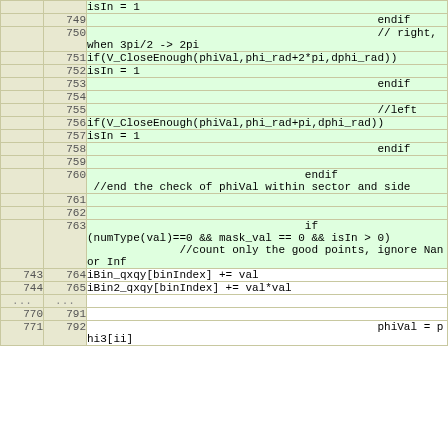| old | new | code |
| --- | --- | --- |
|  |  | isIn = 1 |
|  | 749 |                                             endif |
|  | 750 |                                             // right,
when 3pi/2 -> 2pi |
|  | 751 | if(V_CloseEnough(phiVal,phi_rad+2*pi,dphi_rad)) |
|  | 752 | isIn = 1 |
|  | 753 |                                             endif |
|  | 754 |  |
|  | 755 |                                             //left |
|  | 756 | if(V_CloseEnough(phiVal,phi_rad+pi,dphi_rad)) |
|  | 757 | isIn = 1 |
|  | 758 |                                             endif |
|  | 759 |  |
|  | 760 |                                  endif
 //end the check of phiVal within sector and side |
|  | 761 |  |
|  | 762 |  |
|  | 763 |                                  if
(numType(val)==0 && mask_val == 0 && isIn > 0)
              //count only the good points, ignore Nan or Inf |
| 743 | 764 | iBin_qxqy[binIndex] += val |
| 744 | 765 | iBin2_qxqy[binIndex] += val*val |
| ... | ... |  |
| 770 | 791 |  |
| 771 | 792 |                                             phiVal = phi3[ii] |